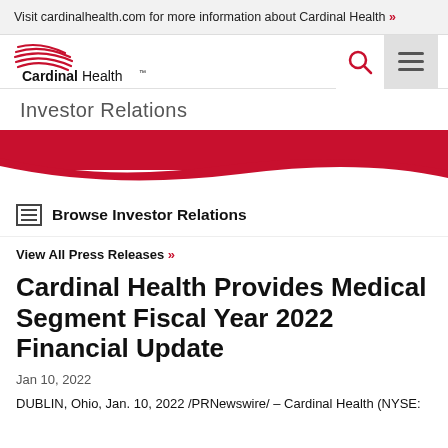Visit cardinalhealth.com for more information about Cardinal Health »
[Figure (logo): Cardinal Health logo with red swoosh lines and Cardinal Health wordmark with TM symbol]
Investor Relations
[Figure (illustration): Red wave/banner decorative element]
Browse Investor Relations
View All Press Releases »
Cardinal Health Provides Medical Segment Fiscal Year 2022 Financial Update
Jan 10, 2022
DUBLIN, Ohio, Jan. 10, 2022 /PRNewswire/ – Cardinal Health (NYSE: